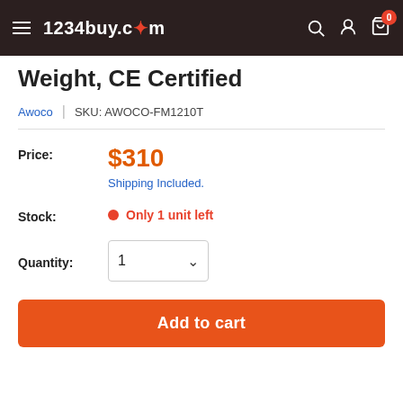1234buy.com
Weight, CE Certified
Awoco | SKU: AWOCO-FM1210T
Price: $310 Shipping Included.
Stock: Only 1 unit left
Quantity: 1
Add to cart